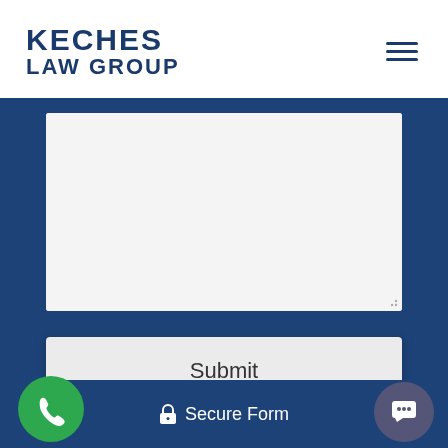KECHES LAW GROUP
[Figure (screenshot): A web contact form on the Keches Law Group website showing a large textarea input, a Submit button, a Secure Form badge, a green phone icon button, and a chat icon button, all on a dark navy blue background.]
Submit
🔒 Secure Form